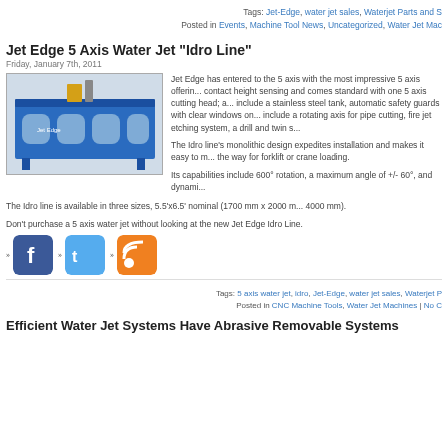Tags: Jet-Edge, water jet sales, Waterjet Parts and S...
Posted in Events, Machine Tool News, Uncategorized, Water Jet Mac...
Jet Edge 5 Axis Water Jet “Idro Line”
Friday, January 7th, 2011
[Figure (photo): Blue Jet Edge CNC water jet cutting machine with yellow components on top]
Jet Edge has entered to the 5 axis with the most impressive 5 axis offering... contact height sensing and comes standard with one 5 axis cutting head; a... include a stainless steel tank, automatic safety guards with clear windows on... include a rotating axis for pipe cutting, fire jet etching system, a drill and twin s...
The Idro line’s monolithic design expedites installation and makes it easy to m... the way for forklift or crane loading.
Its capabilities include 600° rotation, a maximum angle of +/- 60°, and dynami...
The Idro line is available in three sizes, 5.5’x6.5’ nominal (1700 mm x 2000 m... 4000 mm).
Don’t purchase a 5 axis water jet without looking at the new Jet Edge Idro Line.
[Figure (logo): Facebook, Twitter, and RSS social media icon buttons]
Tags: 5 axis water jet, idro, Jet-Edge, water jet sales, Waterjet P...
Posted in CNC Machine Tools, Water Jet Machines | No C...
Efficient Water Jet Systems Have Abrasive Removable Systems